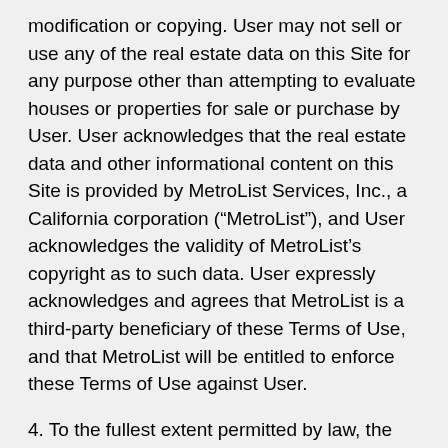modification or copying. User may not sell or use any of the real estate data on this Site for any purpose other than attempting to evaluate houses or properties for sale or purchase by User. User acknowledges that the real estate data and other informational content on this Site is provided by MetroList Services, Inc., a California corporation (“MetroList”), and User acknowledges the validity of MetroList’s copyright as to such data. User expressly acknowledges and agrees that MetroList is a third-party beneficiary of these Terms of Use, and that MetroList will be entitled to enforce these Terms of Use against User.
4. To the fullest extent permitted by law, the data on this Site is provided "as is," without warranty or representation of any kind, either express or implied, as to the nature, quality, characteristics or value of any property or information to which the data pertains. NEITHER PROVIDER NOR METROLIST MAKES ANY